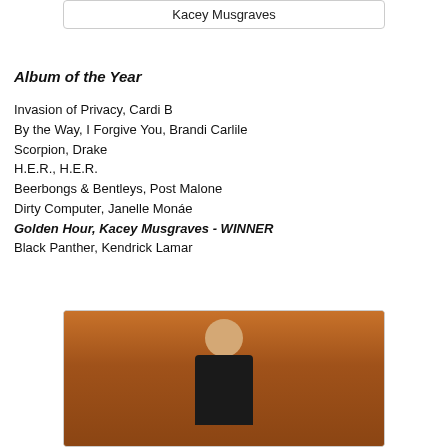Kacey Musgraves
Album of the Year
Invasion of Privacy, Cardi B
By the Way, I Forgive You, Brandi Carlile
Scorpion, Drake
H.E.R., H.E.R.
Beerbongs & Bentleys, Post Malone
Dirty Computer, Janelle Monáe
Golden Hour, Kacey Musgraves - WINNER
Black Panther, Kendrick Lamar
[Figure (photo): Kacey Musgraves on stage at the Grammy Awards, wearing a black and white outfit, holding a microphone, appearing emotional]